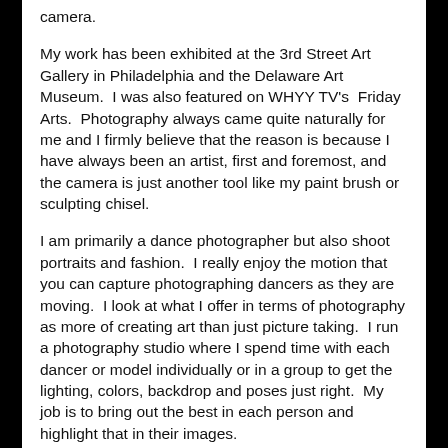camera.
My work has been exhibited at the 3rd Street Art Gallery in Philadelphia and the Delaware Art Museum.  I was also featured on WHYY TV's  Friday Arts.  Photography always came quite naturally for me and I firmly believe that the reason is because I have always been an artist, first and foremost, and the camera is just another tool like my paint brush or sculpting chisel.
I am primarily a dance photographer but also shoot portraits and fashion.  I really enjoy the motion that you can capture photographing dancers as they are moving.  I look at what I offer in terms of photography as more of creating art than just picture taking.  I run a photography studio where I spend time with each dancer or model individually or in a group to get the lighting, colors, backdrop and poses just right.  My job is to bring out the best in each person and highlight that in their images.